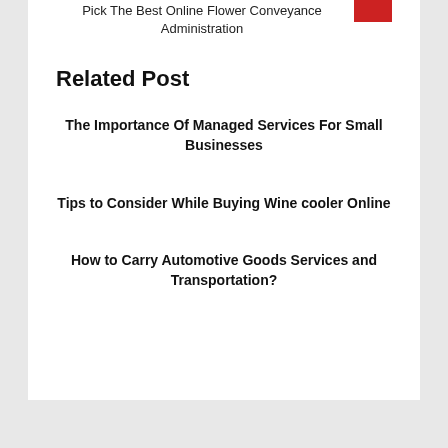Pick The Best Online Flower Conveyance Administration
Related Post
The Importance Of Managed Services For Small Businesses
Tips to Consider While Buying Wine cooler Online
How to Carry Automotive Goods Services and Transportation?